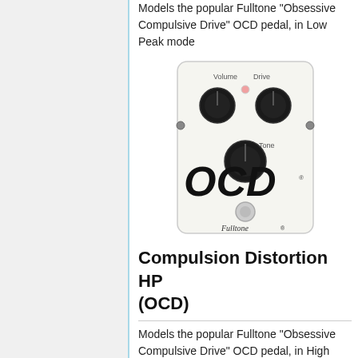Models the popular Fulltone "Obsessive Compulsive Drive" OCD pedal, in Low Peak mode
[Figure (photo): Fulltone OCD guitar effects pedal with Volume, Drive, and Tone knobs on a white enclosure with OCD logo in large black text and Fulltone branding at bottom]
Compulsion Distortion HP (OCD)
Models the popular Fulltone "Obsessive Compulsive Drive" OCD pedal, in High Peak mode
[Figure (photo): Fulltone OCD guitar effects pedal (partially visible) with Volume, Drive, and Tone knobs, OCD logo partially visible at bottom]